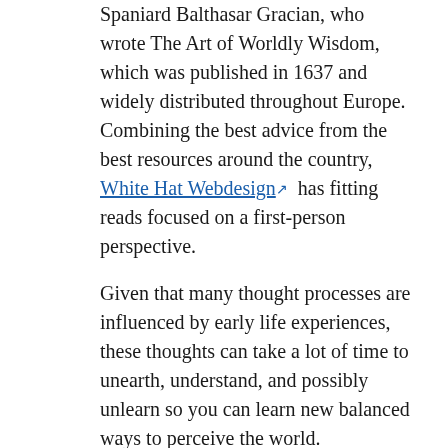Spaniard Balthasar Gracian, who wrote The Art of Worldly Wisdom, which was published in 1637 and widely distributed throughout Europe. Combining the best advice from the best resources around the country, White Hat Webdesign ↗ has fitting reads focused on a first-person perspective.
Given that many thought processes are influenced by early life experiences, these thoughts can take a lot of time to unearth, understand, and possibly unlearn so you can learn new balanced ways to perceive the world. Christianity was born in conflict, and it has been characterised by conflict ever since.' Your new algorithm is a hidden path through the undergrowth where you have to cut down bushes along the way. This method is used for the more advanced levels of treatment where the patient would not be able to tolerate the pain associated with the treatment due to their advanced